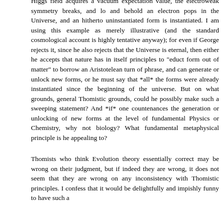Higgs field acquires a vacuum expectation value, the electroweak symmetry breaks, and lo and behold an electron pops in the Universe, and an hitherto uninstantiated form is instantiated. I am using this example as merely illustrative (and the standard cosmological account is highly tentative anyway); for even if George rejects it, since he also rejects that the Universe is eternal, then either he accepts that nature has in itself principles to "educt form out of matter" to borrow an Aristotelean turn of phrase, and can generate or unlock new forms, or he must say that *all* the forms were already instantiated since the beginning of the universe. But on what grounds, general Thomistic grounds, could he possibly make such a sweeping statement? And *if* one countenances the generation or unlocking of new forms at the level of fundamental Physics or Chemistry, why not biology? What fundamental metaphysical principle is he appealing to?
Thomists who think Evolution theory essentially correct may be wrong on their judgment, but if indeed they are wrong, it does not seem that they are wrong on any inconsistency with Thomistic principles. I confess that it would be delightfully and impishly funny to have such a